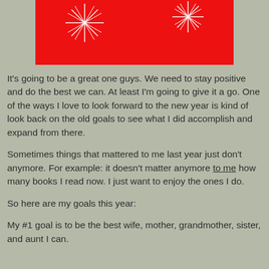[Figure (illustration): Red background banner with white firework/sparkle illustrations, partially cropped at top of page.]
It's going to be a great one guys.  We need to stay positive and do the best we can.  At least I'm going to give it a go.  One of the ways I love to look forward to the new year is kind of look back on the old goals to see what I did accomplish and expand from there.
Sometimes things that mattered to me last year just don't anymore.  For example:  it doesn't matter anymore to me how many books I read now.  I just want to enjoy the ones I do.
So here are my goals this year:
My #1 goal is to be the best wife, mother, grandmother, sister, and aunt I can.